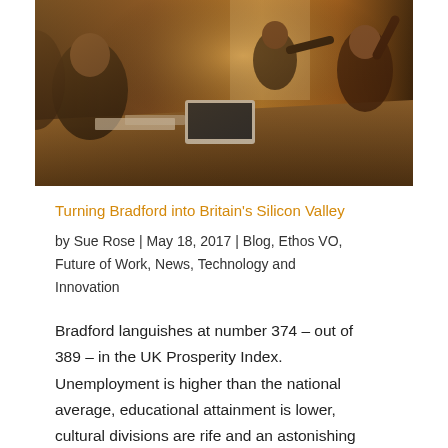[Figure (photo): People sitting around a table in a meeting or classroom setting, with warm overhead lighting. Several individuals are visible including someone presenting at the front and others looking at laptops or papers.]
Turning Bradford into Britain's Silicon Valley
by Sue Rose | May 18, 2017 | Blog, Ethos VO, Future of Work, News, Technology and Innovation
Bradford languishes at number 374 – out of 389 – in the UK Prosperity Index. Unemployment is higher than the national average, educational attainment is lower, cultural divisions are rife and an astonishing 35% of the city's population is under 16.